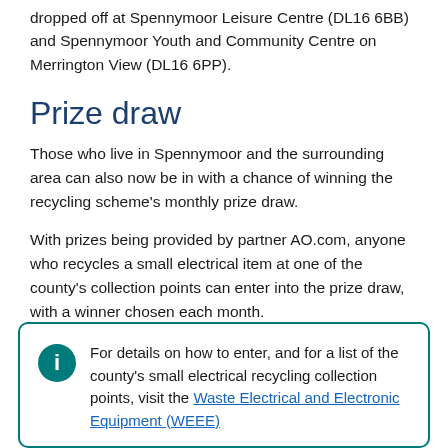dropped off at Spennymoor Leisure Centre (DL16 6BB) and Spennymoor Youth and Community Centre on Merrington View (DL16 6PP).
Prize draw
Those who live in Spennymoor and the surrounding area can also now be in with a chance of winning the recycling scheme's monthly prize draw.
With prizes being provided by partner AO.com, anyone who recycles a small electrical item at one of the county's collection points can enter into the prize draw, with a winner chosen each month.
For details on how to enter, and for a list of the county's small electrical recycling collection points, visit the Waste Electrical and Electronic Equipment (WEEE)